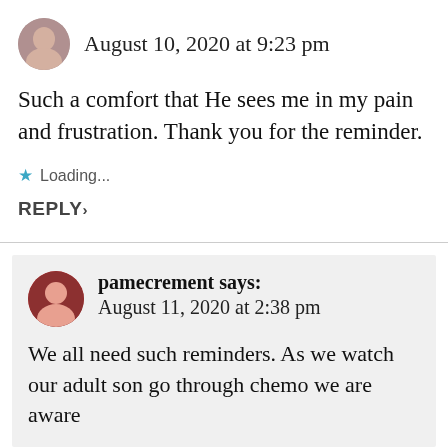August 10, 2020 at 9:23 pm
Such a comfort that He sees me in my pain and frustration. Thank you for the reminder.
Loading...
REPLY
pamecrement says: August 11, 2020 at 2:38 pm
We all need such reminders. As we watch our adult son go through chemo we are aware